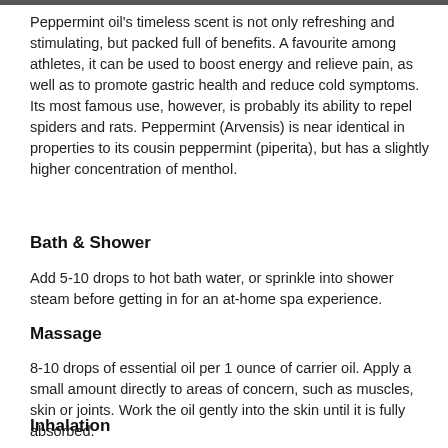Peppermint oil's timeless scent is not only refreshing and stimulating, but packed full of benefits. A favourite among athletes, it can be used to boost energy and relieve pain, as well as to promote gastric health and reduce cold symptoms. Its most famous use, however, is probably its ability to repel spiders and rats. Peppermint (Arvensis) is near identical in properties to its cousin peppermint (piperita), but has a slightly higher concentration of menthol.
Bath & Shower
Add 5-10 drops to hot bath water, or sprinkle into shower steam before getting in for an at-home spa experience.
Massage
8-10 drops of essential oil per 1 ounce of carrier oil. Apply a small amount directly to areas of concern, such as muscles, skin or joints. Work the oil gently into the skin until it is fully absorbed.
Inhalation